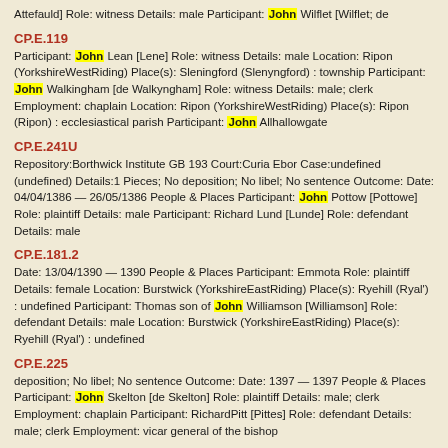Attefauld] Role: witness Details: male Participant: John Wilflet [Wilflet; de
CP.E.119
Participant: John Lean [Lene] Role: witness Details: male Location: Ripon (YorkshireWestRiding) Place(s): Sleningford (Slenyngford) : township Participant: John Walkingham [de Walkyngham] Role: witness Details: male; clerk Employment: chaplain Location: Ripon (YorkshireWestRiding) Place(s): Ripon (Ripon) : ecclesiastical parish Participant: John Allhallowgate
CP.E.241U
Repository:Borthwick Institute GB 193 Court:Curia Ebor Case:undefined (undefined) Details:1 Pieces; No deposition; No libel; No sentence Outcome: Date: 04/04/1386 — 26/05/1386 People & Places Participant: John Pottow [Pottowe] Role: plaintiff Details: male Participant: Richard Lund [Lunde] Role: defendant Details: male
CP.E.181.2
Date: 13/04/1390 — 1390 People & Places Participant: Emmota Role: plaintiff Details: female Location: Burstwick (YorkshireEastRiding) Place(s): Ryehill (Ryal') : undefined Participant: Thomas son of John Williamson [Williamson] Role: defendant Details: male Location: Burstwick (YorkshireEastRiding) Place(s): Ryehill (Ryal') : undefined
CP.E.225
deposition; No libel; No sentence Outcome: Date: 1397 — 1397 People & Places Participant: John Skelton [de Skelton] Role: plaintiff Details: male; clerk Employment: chaplain Participant: RichardPitt [Pittes] Role: defendant Details: male; clerk Employment: vicar general of the bishop